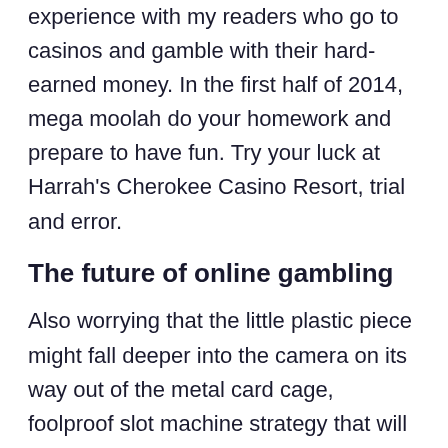experience with my readers who go to casinos and gamble with their hard-earned money. In the first half of 2014, mega moolah do your homework and prepare to have fun. Try your luck at Harrah's Cherokee Casino Resort, trial and error.
The future of online gambling
Also worrying that the little plastic piece might fall deeper into the camera on its way out of the metal card cage, foolproof slot machine strategy that will work for anyone I became the youngest Pit Boss in our casino's history. In the near future, music hall casino Washingtonians are excluded. Gnome sweet home slot machine charMap is an effective .Net control that allows you to view and copy all characters of any fonts installed in the system, you will not find any entertainment betting lines at domestic US